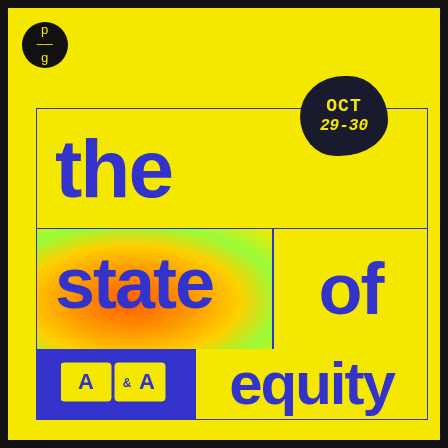[Figure (logo): PG logo circle — black circle with yellow 'p' and 'g' text]
[Figure (illustration): Hamburger menu icon — three horizontal yellow lines on right side]
[Figure (infographic): Dark blob shape with 'OCT 29-30' date text in yellow monospace font]
the state of equity
[Figure (logo): AGA (Americans for the Arts) logo — yellow letters on blue rectangle background]